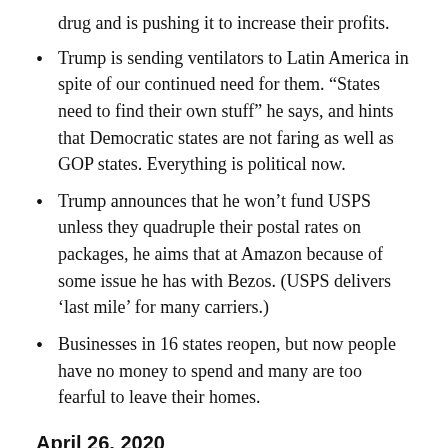drug and is pushing it to increase their profits.
Trump is sending ventilators to Latin America in spite of our continued need for them. “States need to find their own stuff” he says, and hints that Democratic states are not faring as well as GOP states. Everything is political now.
Trump announces that he won’t fund USPS unless they quadruple their postal rates on packages, he aims that at Amazon because of some issue he has with Bezos. (USPS delivers ‘last mile’ for many carriers.)
Businesses in 16 states reopen, but now people have no money to spend and many are too fearful to leave their homes.
April 26, 2020